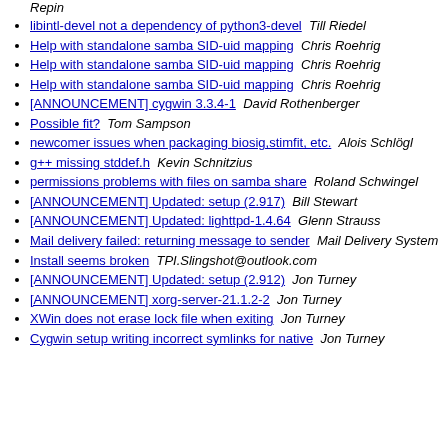Repin (partial, top cut off)
libintl-devel not a dependency of python3-devel   Till Riedel
Help with standalone samba SID-uid mapping   Chris Roehrig
Help with standalone samba SID-uid mapping   Chris Roehrig
Help with standalone samba SID-uid mapping   Chris Roehrig
[ANNOUNCEMENT] cygwin 3.3.4-1   David Rothenberger
Possible fit?   Tom Sampson
newcomer issues when packaging biosig,stimfit, etc.   Alois Schlögl
g++ missing stddef.h   Kevin Schnitzius
permissions problems with files on samba share   Roland Schwingel
[ANNOUNCEMENT] Updated: setup (2.917)   Bill Stewart
[ANNOUNCEMENT] Updated: lighttpd-1.4.64   Glenn Strauss
Mail delivery failed: returning message to sender   Mail Delivery System
Install seems broken   TPI.Slingshot@outlook.com
[ANNOUNCEMENT] Updated: setup (2.912)   Jon Turney
[ANNOUNCEMENT] xorg-server-21.1.2-2   Jon Turney
XWin does not erase lock file when exiting   Jon Turney
Cygwin setup writing incorrect symlinks for native   Jon Turney (partial, bottom cut off)